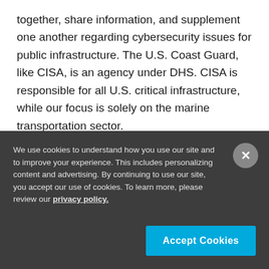together, share information, and supplement one another regarding cybersecurity issues for public infrastructure. The U.S. Coast Guard, like CISA, is an agency under DHS. CISA is responsible for all U.S. critical infrastructure, while our focus is solely on the marine transportation sector.
We use cookies to understand how you use our site and to improve your experience. This includes personalizing content and advertising. By continuing to use our site, you accept our use of cookies. To learn more, please review our privacy policy.